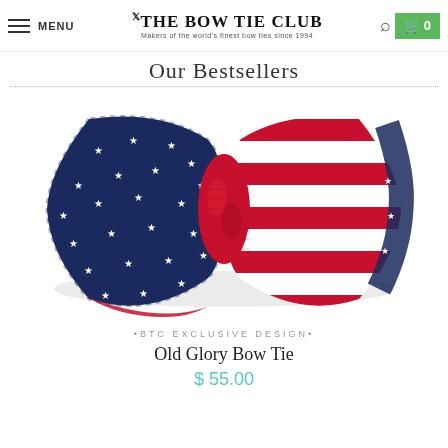MENU | THE BOW TIE CLUB - Makers of the world's finest bow ties since 1994
Our Bestsellers
[Figure (photo): American flag-themed bow tie (Old Glory Bow Tie) with navy blue left wing featuring white stars and red/white striped right wing, red center knot. Product photo on white background.]
•BTC EXCLUSIVE DESIGN•
Old Glory Bow Tie
$ 55.00